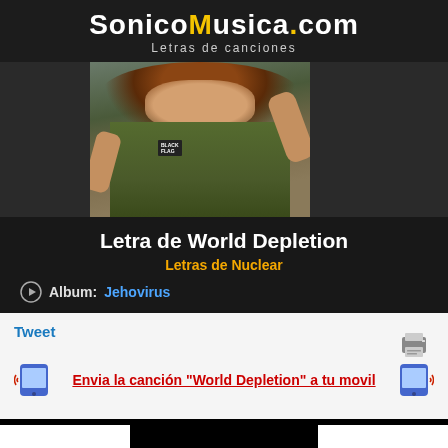SonicoMusica.com Letras de canciones
[Figure (photo): Concert photo of a performer with long curly hair wearing a camouflage vest with 'BLACK FLAG' patch, arms raised, mouth open singing.]
Letra de World Depletion
Letras de Nuclear
Album: Jehovirus
Tweet
Envia la canción "World Depletion" a tu movil